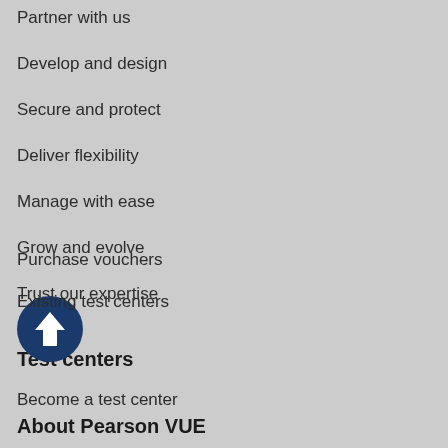Partner with us
Develop and design
Secure and protect
Deliver flexibility
Manage with ease
Grow and evolve
Trust our expertise
Test centers
Become a test center
Existing test centers
Purchase vouchers
About Pearson VUE